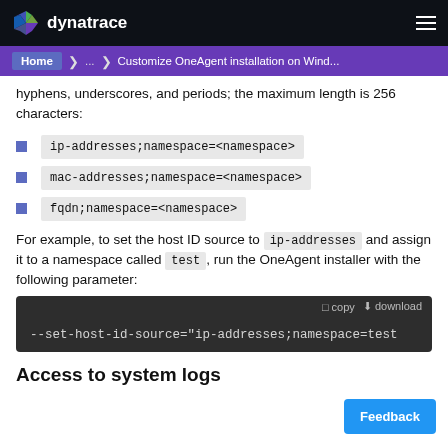dynatrace
Home ... Customize OneAgent installation on Wind...
hyphens, underscores, and periods; the maximum length is 256 characters:
ip-addresses;namespace=<namespace>
mac-addresses;namespace=<namespace>
fqdn;namespace=<namespace>
For example, to set the host ID source to ip-addresses and assign it to a namespace called test, run the OneAgent installer with the following parameter:
--set-host-id-source="ip-addresses;namespace=test
Access to system logs